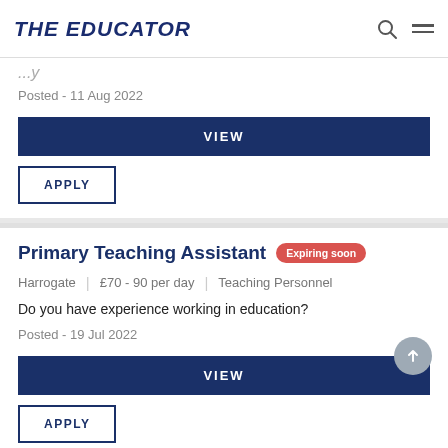THE EDUCATOR
Posted - 11 Aug 2022
VIEW
APPLY
Primary Teaching Assistant
Expiring soon
Harrogate | £70 - 90 per day | Teaching Personnel
Do you have experience working in education?
Posted - 19 Jul 2022
VIEW
APPLY